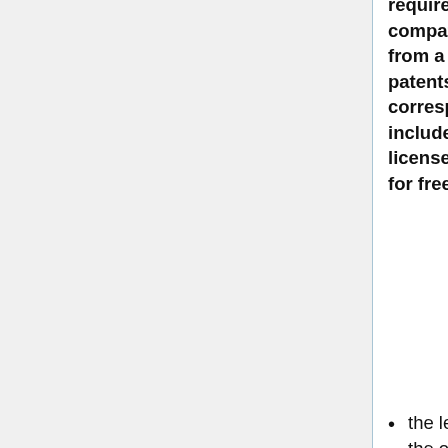require an open-source compatible, royalty free license from a contributor for any such patents they may own before the corresponding technology can be included in a standard. These license are made available online, for free, to all parties.
the level of IPR set "mandatory" by the organisation (no patent, royalty free patent, patent and RAND with limited liability , patent and classic RAND, patent with explicit licensing, patent with defensive licensing, or none); All standards, specifications, and software published by the Xiph.Org Foundation are required to have "open-source compatible" IPR. This means that a